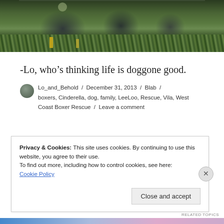[Figure (photo): Outdoor photo of people sitting on grass/plants with green foliage background, cropped to show lower portion]
-Lo, who’s thinking life is doggone good.
Lo_and_Behold / December 31, 2013 / Blab / boxers, Cinderella, dog, family, LeeLoo, Rescue, Vila, West Coast Boxer Rescue / Leave a comment
Privacy & Cookies: This site uses cookies. By continuing to use this website, you agree to their use.
To find out more, including how to control cookies, see here:
Cookie Policy
Close and accept